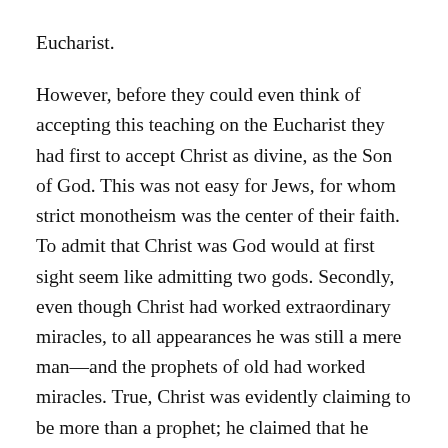Eucharist.

However, before they could even think of accepting this teaching on the Eucharist they had first to accept Christ as divine, as the Son of God. This was not easy for Jews, for whom strict monotheism was the center of their faith. To admit that Christ was God would at first sight seem like admitting two gods. Secondly, even though Christ had worked extraordinary miracles, to all appearances he was still a mere man—and the prophets of old had worked miracles. True, Christ was evidently claiming to be more than a prophet; he claimed that he alone had seen the Father, that he had come from the Father. This claim of equality with the Father would be sheer blasphemy if it were not true; could God give the power